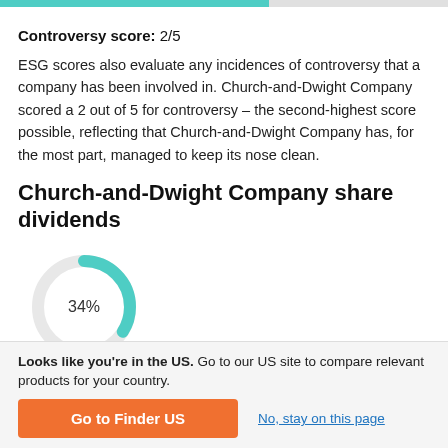Controversy score: 2/5
ESG scores also evaluate any incidences of controversy that a company has been involved in. Church-and-Dwight Company scored a 2 out of 5 for controversy – the second-highest score possible, reflecting that Church-and-Dwight Company has, for the most part, managed to keep its nose clean.
Church-and-Dwight Company share dividends
[Figure (donut-chart): 34%]
Looks like you're in the US. Go to our US site to compare relevant products for your country.
Go to Finder US
No, stay on this page